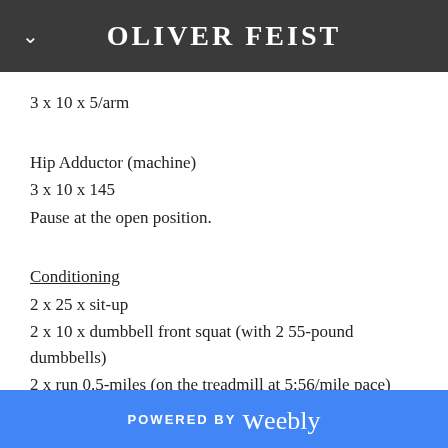OLIVER FEIST
3 x 10 x 5/arm
Hip Adductor (machine)
3 x 10 x 145
Pause at the open position.
Conditioning
2 x 25 x sit-up
2 x 10 x dumbbell front squat (with 2 55-pound dumbbells)
2 x run 0.5-miles (on the treadmill at 5:56/mile pace)
2 x rest for 3 minutes
POWERED BY weebly